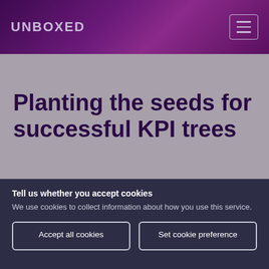UNBOXED
Planting the seeds for successful KPI trees
Tell us whether you accept cookies
We use cookies to collect information about how you use this service.
Accept all cookies
Set cookie preference